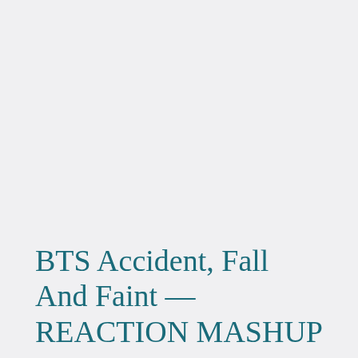BTS Accident, Fall And Faint — REACTION MASHUP